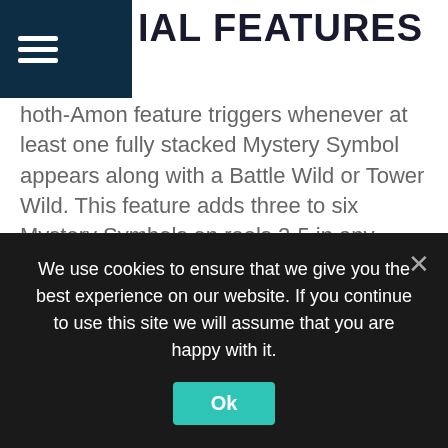SPECIAL FEATURES
hoth-Amon feature triggers whenever at least one fully stacked Mystery Symbol appears along with a Battle Wild or Tower Wild. This feature adds three to six Mystery Symbols on reels 2-5 in any positions occupied by standard symbols.
Speaking of the wilds, Battle Wilds appear on reels 5 and 6 only. They can expand up to three positions sideways and substitute for all symbols except the scatter. Tower Wilds appear on reels 1 and 2 and can expand to fill the entire reel they're on.
As for the scatter, landing three, four, five or six will reward you with 10, 15, 20 or 25 free spins respectively. You'll get to choose one of three free spins features to play:
We use cookies to ensure that we give you the best experience on our website. If you continue to use this site we will assume that you are happy with it.